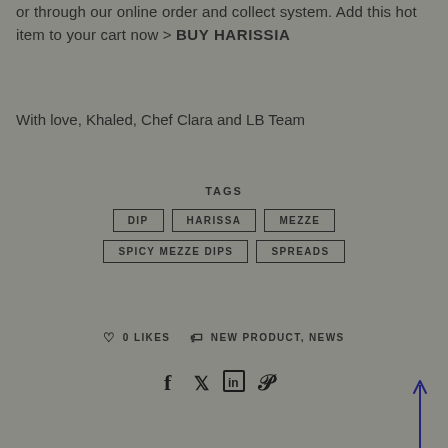or through our online order and collect system. Add this hot item to your cart now > BUY HARISSIA
With love, Khaled, Chef Clara and LB Team
TAGS
DIP
HARISSA
MEZZE
SPICY MEZZE DIPS
SPREADS
0 LIKES   NEW PRODUCT, NEWS
[Figure (other): Social sharing icons: Facebook, Twitter, LinkedIn, Pinterest]